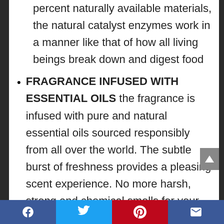percent naturally available materials, the natural catalyst enzymes work in a manner like that of how all living beings break down and digest food
FRAGRANCE INFUSED WITH ESSENTIAL OILS the fragrance is infused with pure and natural essential oils sourced responsibly from all over the world. The subtle burst of freshness provides a pleasing scent experience. No more harsh, strong and chemical smells for your dishes
Facebook | Twitter | Pinterest | Email